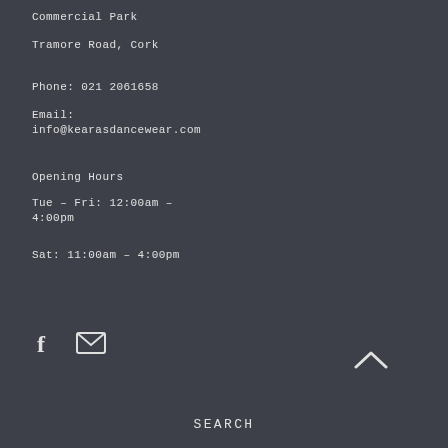Commercial Park
Tramore Road, Cork
Phone: 021 2061658
Email:
info@kearasdancewear.com
Opening Hours
Tue – Fri: 12:00am –
4:00pm
Sat: 11:00am – 4:00pm
[Figure (illustration): Facebook icon (letter f) and envelope/email icon]
[Figure (illustration): Chevron/caret up arrow icon]
SEARCH